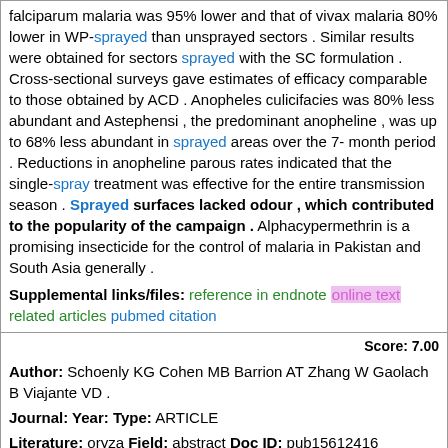falciparum malaria was 95% lower and that of vivax malaria 80% lower in WP-sprayed than unsprayed sectors . Similar results were obtained for sectors sprayed with the SC formulation . Cross-sectional surveys gave estimates of efficacy comparable to those obtained by ACD . Anopheles culicifacies was 80% less abundant and Astephensi , the predominant anopheline , was up to 68% less abundant in sprayed areas over the 7-month period . Reductions in anopheline parous rates indicated that the single-spray treatment was effective for the entire transmission season . Sprayed surfaces lacked odour , which contributed to the popularity of the campaign . Alphacypermethrin is a promising insecticide for the control of malaria in Pakistan and South Asia generally .
Supplemental links/files: reference in endnote  online text  related articles  pubmed citation
Score: 7.00
Author: Schoenly KG Cohen MB Barrion AT Zhang W Gaolach B Viajante VD .
Journal: Year: Type: ARTICLE
Literature: oryza Field: abstract Doc ID: pub15612416 Accession (PMID): 15612416
Abstract: Endotoxins from Bacillus thuringiensis ( Bt ) produced in transgenic pest-resistant Bt crops are generally not toxic to predatory and parasitic arthropods . However , elimination of Bt-susceptible prey and hosts in Bt crops could reduce predator and parasitoid abundance and thereby disrupt biological control of other herbivorous pests . Here we report results of a field study evaluating the effects of Bt sprays on non-target terrestrial herbivore and natural enemy assemblages from